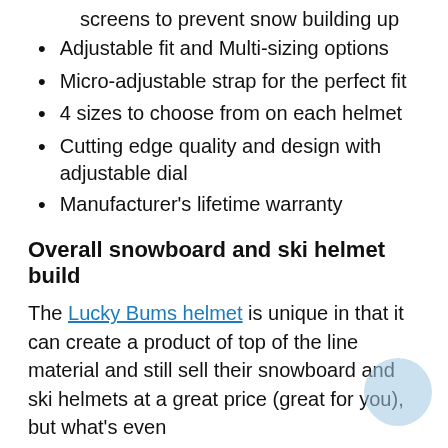screens to prevent snow building up
Adjustable fit and Multi-sizing options
Micro-adjustable strap for the perfect fit
4 sizes to choose from on each helmet
Cutting edge quality and design with adjustable dial
Manufacturer's lifetime warranty
Overall snowboard and ski helmet build
The Lucky Bums helmet is unique in that it can create a product of top of the line material and still sell their snowboard and ski helmets at a great price (great for you), but what's even